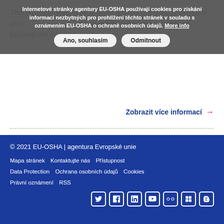Internetové stránky agentury EU-OSHA používají cookies pro získání informací nezbytných pro prohlížení těchto stránek v souladu s oznámením EU-OSHA o ochraně osobních údajů. More info
This website offers free tools to assess the risks of physical wo... ...ch to guide during the process of tackling the present issues.
Zobrazit více informací →
© 2021 EU-OSHA | agentura Evropské unie
Mapa stránek  Kontaktujte nás  Přístupnost
Data Protection  Ochrana osobních údajů  Cookies
Právní oznámení  RSS